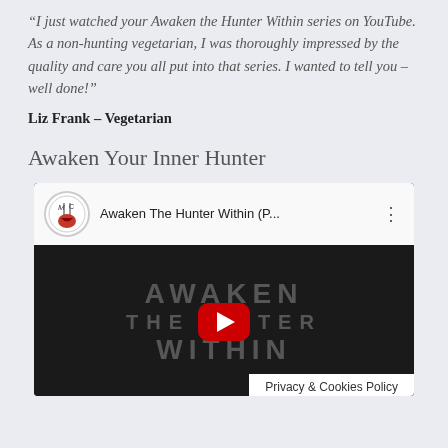“I just watched your Awaken the Hunter Within series on YouTube. As a non-hunting vegetarian, I was thoroughly impressed by the quality and care you all put into that series. I wanted to tell you – well done!”
Liz Frank – Vegetarian
Awaken Your Inner Hunter
[Figure (screenshot): YouTube video embed showing 'Awaken The Hunter Within (P...' video with channel icon, three-dot menu, dark thumbnail with text overlay reading AWAKEN THE HUNTER WITHIN and a red YouTube play button. A Privacy & Cookies Policy bar appears at the bottom right.]